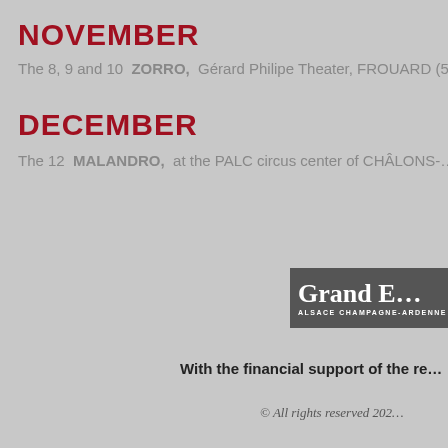NOVEMBER
The 8, 9 and 10  ZORRO,  Gérard Philipe Theater, FROUARD (5…
DECEMBER
The 12  MALANDRO,  at the PALC circus center of CHÂLONS-…
[Figure (logo): Grand Est region logo with text 'Grand E' and subtitle 'ALSACE CHAMPAGNE-ARDENNE']
With the financial support of the re…
© All rights reserved 202…